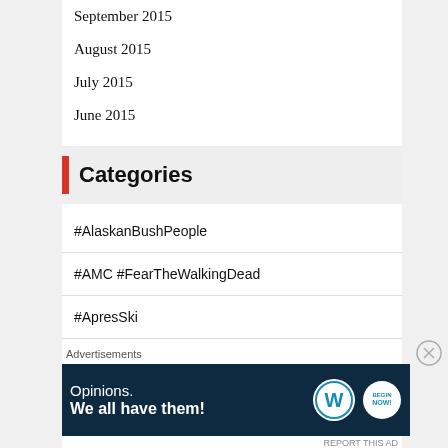September 2015
August 2015
July 2015
June 2015
Categories
#AlaskanBushPeople
#AMC #FearTheWalkingDead
#ApresSki
#BelowDeck
#belowdeckmed
#BelowDeckMediterranean
#E!
[Figure (infographic): Advertisement banner: dark navy background with text 'Opinions. We all have them!' and WordPress and VIP logos on the right. 'Advertisements' label above.]